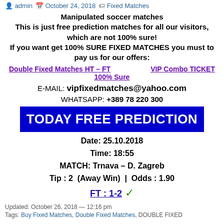admin  October 24, 2018  Fixed Matches
Manipulated soccer matches
This is just free prediction matches for all our visitors, which are not 100% sure!
If you want get 100% SURE FIXED MATCHES you must to pay us for our offers:
Double Fixed Matches HT – FT    VIP Combo TICKET
100% Sure
E-MAIL: vipfixedmatches@yahoo.com
WHATSAPP: +389 78 220 300
TODAY FREE PREDICTION
Date: 25.10.2018
Time: 18:55
MATCH: Trnava – D. Zagreb
Tip : 2  (Away Win)  |  Odds : 1.90
FT : 1-2 ✓
Updated: October 26, 2018 — 12:16 pm
Tags: Buy Fixed Matches, Double Fixed Matches, DOUBLE FIXED